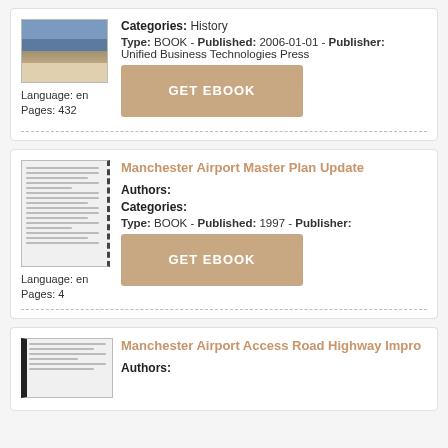[Figure (photo): Thumbnail photo of an airport interior/terminal area]
Language: en
Pages: 432
Categories: History
Type: BOOK - Published: 2006-01-01 - Publisher: Unified Business Technologies Press
GET EBOOK
Manchester Airport Master Plan Update
Authors:
Categories:
Type: BOOK - Published: 1997 - Publisher:
Language: en
Pages: 4
GET EBOOK
Manchester Airport Access Road Highway Impro
Authors: